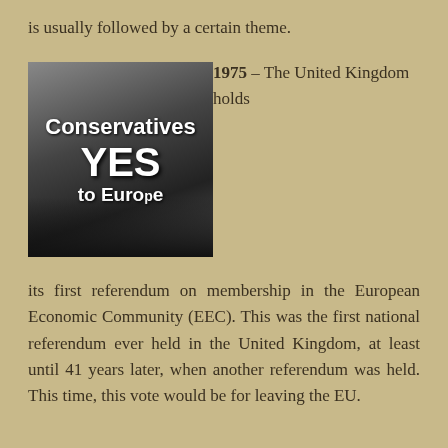is usually followed by a certain theme.
[Figure (photo): Black and white photograph showing a 'Conservatives YES to Europe' campaign banner/sign with people seated at a table in front of it, likely from the 1975 UK EEC referendum campaign.]
1975 – The United Kingdom holds its first referendum on membership in the European Economic Community (EEC). This was the first national referendum ever held in the United Kingdom, at least until 41 years later, when another referendum was held. This time, this vote would be for leaving the EU.